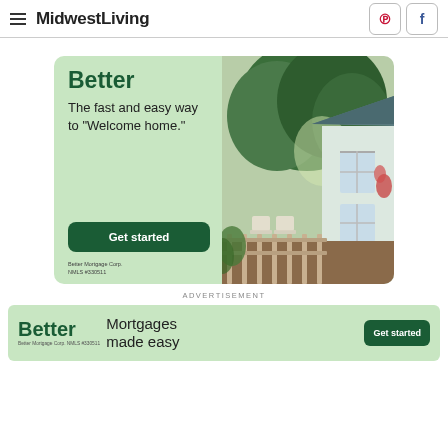MidwestLiving
[Figure (infographic): Better mortgage advertisement with green left panel showing brand name 'Better', tagline 'The fast and easy way to Welcome home.', a 'Get started' button, legal text 'Better Mortgage Corp. NMLS #330511', and right side showing photo of a house exterior with trees and deck.]
ADVERTISEMENT
[Figure (infographic): Better mortgage banner ad with brand name 'Better', legal text 'Better Mortgage Corp. NMLS #330511', tagline 'Mortgages made easy', and 'Get started' button on green background.]